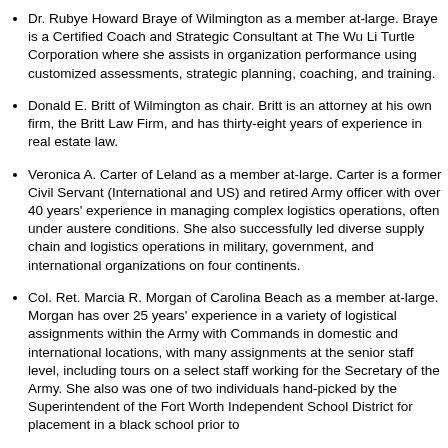Dr. Rubye Howard Braye of Wilmington as a member at-large. Braye is a Certified Coach and Strategic Consultant at The Wu Li Turtle Corporation where she assists in organization performance using customized assessments, strategic planning, coaching, and training.
Donald E. Britt of Wilmington as chair. Britt is an attorney at his own firm, the Britt Law Firm, and has thirty-eight years of experience in real estate law.
Veronica A. Carter of Leland as a member at-large. Carter is a former Civil Servant (International and US) and retired Army officer with over 40 years' experience in managing complex logistics operations, often under austere conditions. She also successfully led diverse supply chain and logistics operations in military, government, and international organizations on four continents.
Col. Ret. Marcia R. Morgan of Carolina Beach as a member at-large. Morgan has over 25 years' experience in a variety of logistical assignments within the Army with Commands in domestic and international locations, with many assignments at the senior staff level, including tours on a select staff working for the Secretary of the Army. She also was one of two individuals hand-picked by the Superintendent of the Fort Worth Independent School District for placement in a black school prior to